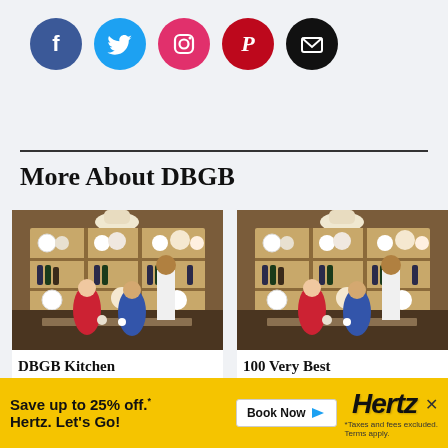[Figure (infographic): Row of five social media icon circles: Facebook (blue), Twitter (cyan), Instagram (pink/magenta), Pinterest (dark red), Email/envelope (black)]
More About DBGB
[Figure (photo): Interior of DBGB Kitchen restaurant showing a server attending to diners seated at a booth, with illuminated shelves displaying decorative plates and wine bottles in the background]
[Figure (photo): Interior of DBGB Kitchen restaurant, same scene as left image — server with diners at booth, illuminated shelves with plates and wine bottles]
DBGB Kitchen
100 Very Best
Save up to 25% off.* Hertz. Let's Go! *Taxes and fees excluded. Terms apply. Book Now Hertz